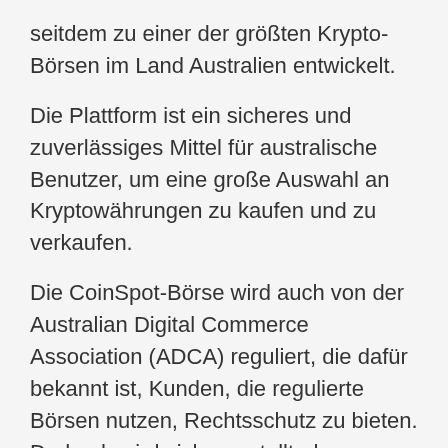seitdem zu einer der größten Krypto-Börsen im Land Australien entwickelt.
Die Plattform ist ein sicheres und zuverlässiges Mittel für australische Benutzer, um eine große Auswahl an Kryptowährungen zu kaufen und zu verkaufen.
Die CoinSpot-Börse wird auch von der Australian Digital Commerce Association (ADCA) reguliert, die dafür bekannt ist, Kunden, die regulierte Börsen nutzen, Rechtsschutz zu bieten. Dadurch wird sichergestellt, dass CoinSpot eine sichere Plattform bietet, über die Benutzer Kryptowährungen kaufen können, ohne sich Gedanken darüber machen zu müssen, ob ihre Gelder sicher sind oder nicht.